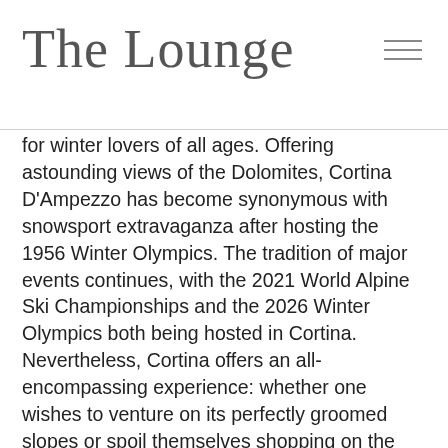The Lounge
for winter lovers of all ages. Offering astounding views of the Dolomites, Cortina D'Ampezzo has become synonymous with snowsport extravaganza after hosting the 1956 Winter Olympics. The tradition of major events continues, with the 2021 World Alpine Ski Championships and the 2026 Winter Olympics both being hosted in Cortina. Nevertheless, Cortina offers an all-encompassing experience: whether one wishes to venture on its perfectly groomed slopes or spoil themselves shopping on the legendary Corso Italia, the resort delivers impeccable service throughout.
COVID-19 guidelines:
Cortina has stringent safety measures in